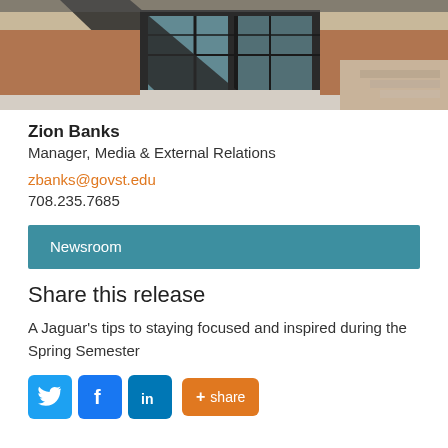[Figure (photo): Exterior photo of a brick building with large black-framed glass entrance, geometric architectural details, and a paved forecourt]
Zion Banks
Manager, Media & External Relations
zbanks@govst.edu
708.235.7685
Newsroom
Share this release
A Jaguar's tips to staying focused and inspired during the Spring Semester
[Figure (infographic): Social share buttons: Twitter (blue bird icon), Facebook (blue F icon), LinkedIn (blue in icon), and an orange + share button]